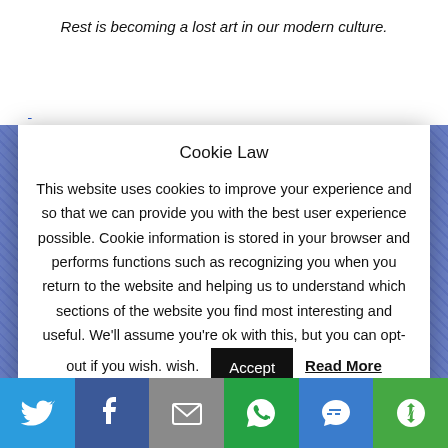Rest is becoming a lost art in our modern culture.
Cookie Law
This website uses cookies to improve your experience and so that we can provide you with the best user experience possible. Cookie information is stored in your browser and performs functions such as recognizing you when you return to the website and helping us to understand which sections of the website you find most interesting and useful. We'll assume you're ok with this, but you can opt-out if you wish.
Accept  Read More